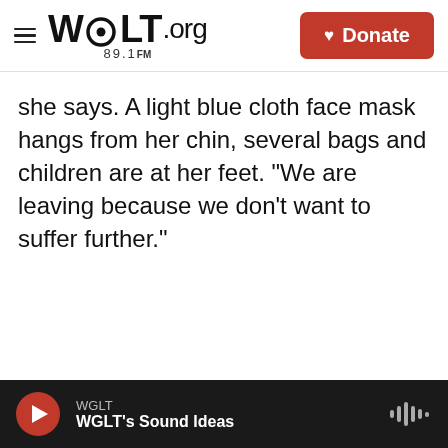WGLT.org 89.1FM | Donate
she says. A light blue cloth face mask hangs from her chin, several bags and children are at her feet. "We are leaving because we don't want to suffer further."
WGLT — WGLT's Sound Ideas